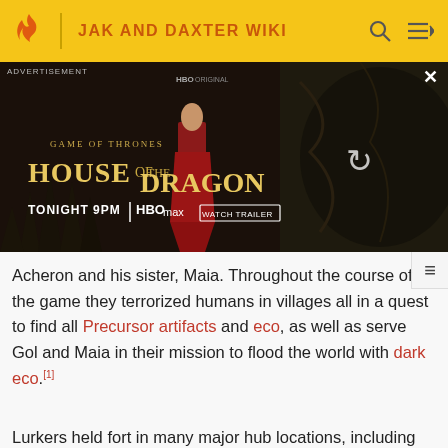JAK AND DAXTER WIKI
[Figure (screenshot): Advertisement for HBO Max's House of the Dragon - Game of Thrones prequel series. Shows 'TONIGHT 9PM | HBOmax | WATCH TRAILER' text over a dark fantasy backdrop with a character in red dress.]
Acheron and his sister, Maia. Throughout the course of the game they terrorized humans in villages all in a quest to find all Precursor artifacts and eco, as well as serve Gol and Maia in their mission to flood the world with dark eco.[1]
Lurkers held fort in many major hub locations, including Sentinel Beach, Misty Island, and Forbidden Jungle in which they were deployed while antagonizing the